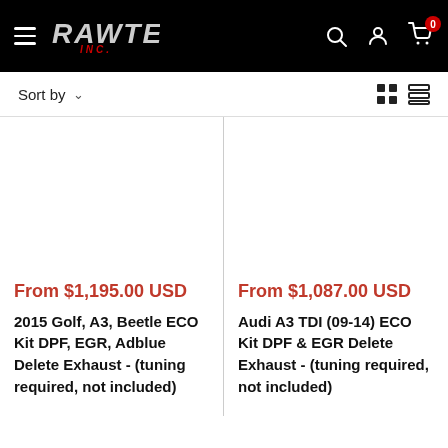[Figure (logo): Rawtek Inc. logo on black header bar with hamburger menu, search, account, and cart icons]
Sort by
From $1,195.00 USD
2015 Golf, A3, Beetle ECO Kit DPF, EGR, Adblue Delete Exhaust - (tuning required, not included)
From $1,087.00 USD
Audi A3 TDI (09-14) ECO Kit DPF & EGR Delete Exhaust - (tuning required, not included)